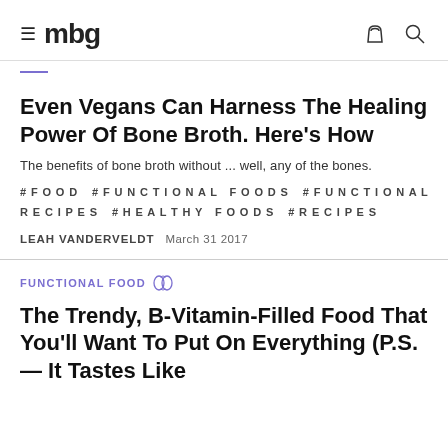mbg
Even Vegans Can Harness The Healing Power Of Bone Broth. Here's How
The benefits of bone broth without ... well, any of the bones.
#FOOD   #FUNCTIONAL FOODS   #FUNCTIONAL RECIPES   #HEALTHY FOODS   #RECIPES
LEAH VANDERVELDT   March 31 2017
FUNCTIONAL FOOD
The Trendy, B-Vitamin-Filled Food That You'll Want To Put On Everything (P.S. — It Tastes Like